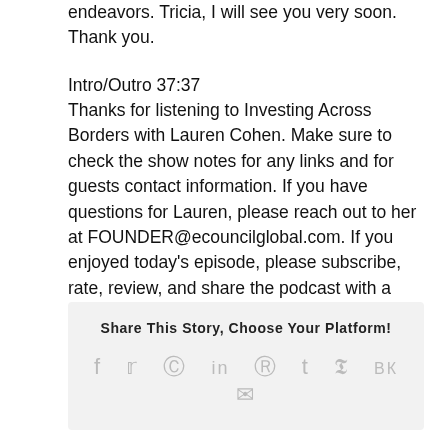endeavors. Tricia, I will see you very soon. Thank you.
Intro/Outro 37:37
Thanks for listening to Investing Across Borders with Lauren Cohen. Make sure to check the show notes for any links and for guests contact information. If you have questions for Lauren, please reach out to her at FOUNDER@ecouncilglobal.com. If you enjoyed today's episode, please subscribe, rate, review, and share the podcast with a friend.
Share This Story, Choose Your Platform!